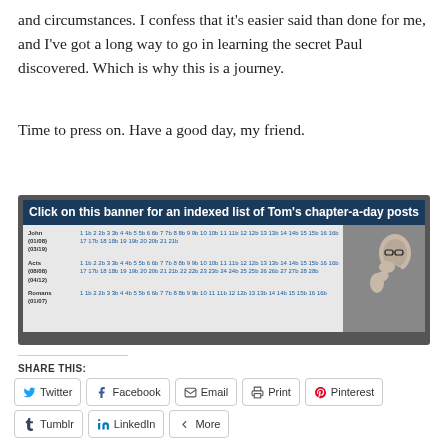and circumstances. I confess that it's easier said than done for me, and I've got a long way to go in learning the secret Paul discovered. Which is why this is a journey.
Time to press on. Have a good day, my friend.
[Figure (infographic): Banner reading 'Click on this banner for an indexed list of Tom's chapter-a-day posts' with a table listing Bible books (John, Acts, Romans) with chapter links and a photo of a man with glasses.]
SHARE THIS:
Twitter | Facebook | Email | Print | Pinterest | Tumblr | LinkedIn | More